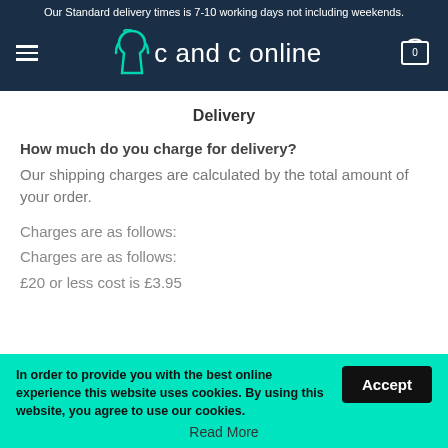Our Standard delivery times is 7-10 working days not including weekends.
[Figure (logo): C and C Online logo with teal shirt icon and white text on dark navy background]
Delivery
How much do you charge for delivery?
Our shipping charges are calculated by the total amount of your order.
Charges are as follows:
Charges are as follows:
£20 or less cost is £3.95
In order to provide you with the best online experience this website uses cookies. By using this website, you agree to use our cookies.
Read More